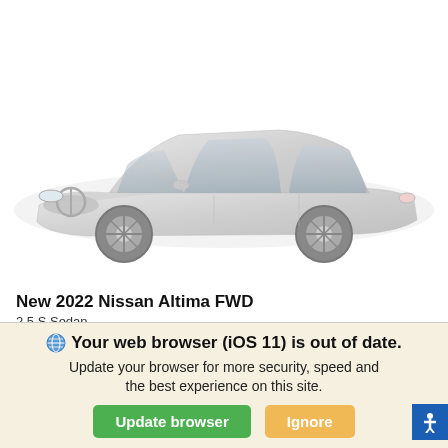[Figure (photo): Silver 2022 Nissan Altima FWD sedan shown in a 3/4 front view on a white background]
New 2022 Nissan Altima FWD
2.5 S Sedan
| MSRP | $26,565 |
Your web browser (iOS 11) is out of date.
Update your browser for more security, speed and the best experience on this site.
Update browser
Ignore